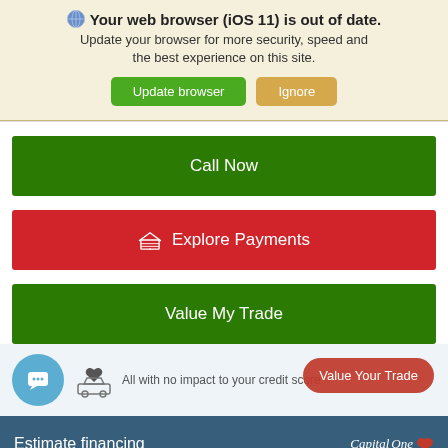Your web browser (iOS 11) is out of date. Update your browser for more security, speed and the best experience on this site.
[Figure (screenshot): Browser update warning banner with Update browser (green) and Ignore (tan/yellow) buttons]
Call Now
Explore Payments
Value My Trade
All with no impact to your credit score
Value Your Trade
Estimate financing
[Figure (logo): Capital One logo]